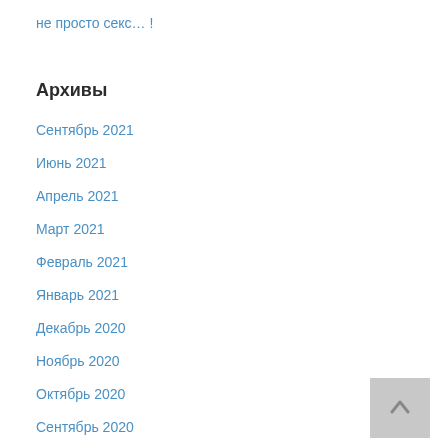не просто секс… !
Архивы
Сентябрь 2021
Июнь 2021
Апрель 2021
Март 2021
Февраль 2021
Январь 2021
Декабрь 2020
Ноябрь 2020
Октябрь 2020
Сентябрь 2020
Май 2020
Апрель 2020
Март 2020